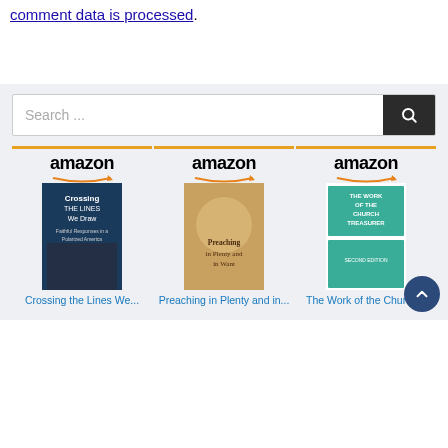comment data is processed.
Search ...
[Figure (other): Amazon product card for book: Crossing the Lines We Draw]
[Figure (other): Amazon product card for book: Preaching in Plenty and in Want]
[Figure (other): Amazon product card for book: The Work of the Church Treasurer]